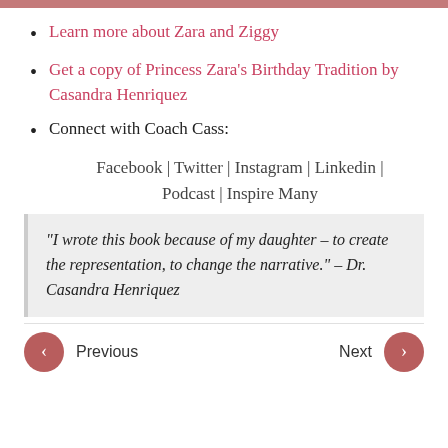Learn more about Zara and Ziggy
Get a copy of Princess Zara's Birthday Tradition by Casandra Henriquez
Connect with Coach Cass: Facebook | Twitter | Instagram | Linkedin | Podcast | Inspire Many
“I wrote this book because of my daughter – to create the representation, to change the narrative.” – Dr. Casandra Henriquez
Previous | Next